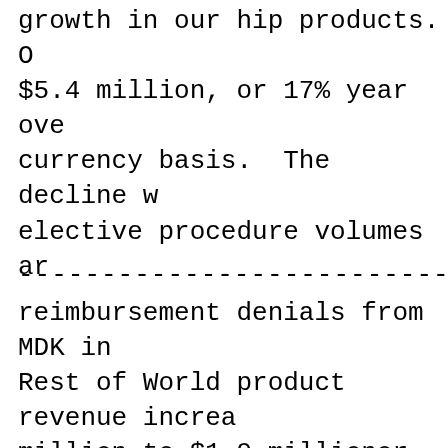growth in our hip products. O $5.4 million, or 17% year ove currency basis. The decline w elective procedure volumes ar
--------------------------------------
reimbursement denials from MDK in Rest of World product revenue increa million to $1.9 millionor 49% year-ove reported basis and 39% on a constant basis, primarily due to an increase in surgeries in the UK which were lower period as a result of the COVID-19 pa